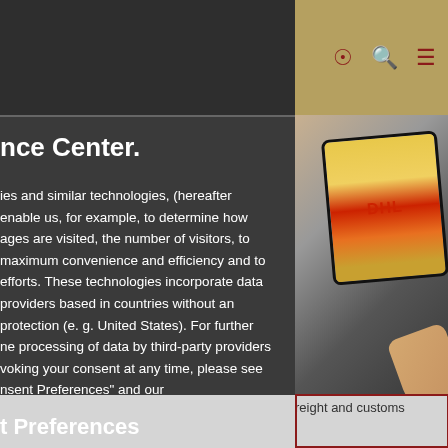nce Center.
ies and similar technologies, (hereafter enable us, for example, to determine how ages are visited, the number of visitors, to maximum convenience and efficiency and to efforts. These technologies incorporate data providers based in countries without an protection (e. g. United States). For further ne processing of data by third-party providers voking your consent at any time, please see nsent Preferences" and our
[Figure (photo): Photo of a tablet device displaying DHL branding, with a hand holding a stylus]
reight and customs
t Preferences